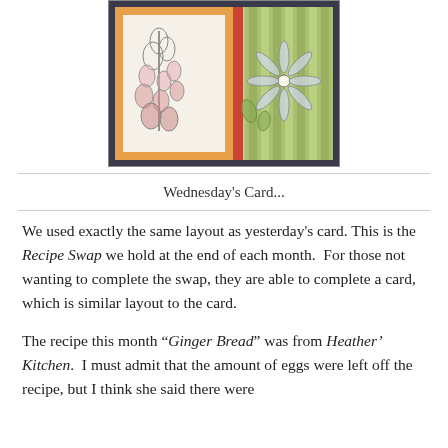[Figure (photo): A handmade greeting card featuring floral stamp artwork on orange and green striped background with a dark border]
Wednesday's Card...
We used exactly the same layout as yesterday's card. This is the Recipe Swap we hold at the end of each month.  For those not wanting to complete the swap, they are able to complete a card, which is similar layout to the card.
The recipe this month “Ginger Bread” was from Heather’ Kitchen.  I must admit that the amount of eggs were left off the recipe, but I think she said there were